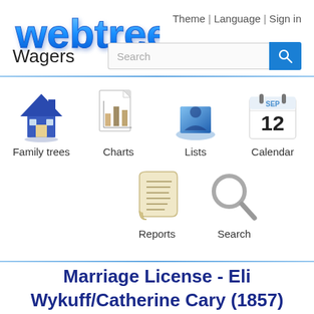[Figure (logo): webtrees logo in blue 3D text]
Theme | Language | Sign in
Wagers
[Figure (other): Search input box with blue search button]
[Figure (other): Navigation icons: Family trees, Charts, Lists, Calendar, Reports, Search]
Marriage License - Eli Wykuff/Catherine Cary (1857)